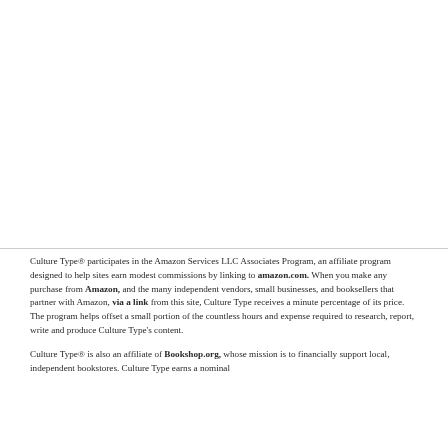Culture Type® participates in the Amazon Services LLC Associates Program, an affiliate program designed to help sites earn modest commissions by linking to amazon.com. When you make any purchase from Amazon, and the many independent vendors, small businesses, and booksellers that partner with Amazon, via a link from this site, Culture Type receives a minute percentage of its price. The program helps offset a small portion of the countless hours and expense required to research, report, write and produce Culture Type's content.
Culture Type® is also an affiliate of Bookshop.org, whose mission is to financially support local, independent bookstores. Culture Type earns a nominal